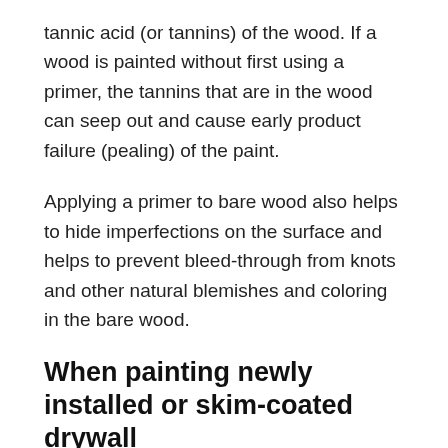tannic acid (or tannins) of the wood. If a wood is painted without first using a primer, the tannins that are in the wood can seep out and cause early product failure (pealing) of the paint.
Applying a primer to bare wood also helps to hide imperfections on the surface and helps to prevent bleed-through from knots and other natural blemishes and coloring in the bare wood.
When painting newly installed or skim-coated drywall
A new drywall or skim-coated surface is highly porous and thus requires at least one coat of primer before painting.